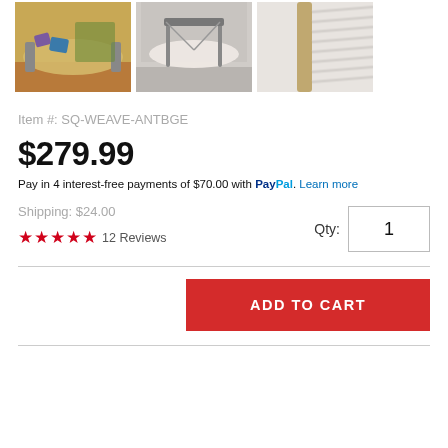[Figure (photo): Three product images of hammocks: left shows a yellow hammock on a patio outdoors, center shows a white hammock on a stand indoors, right shows a white macrame hammock close-up]
Item #: SQ-WEAVE-ANTBGE
$279.99
Pay in 4 interest-free payments of $70.00 with PayPal. Learn more
Shipping: $24.00
★★★★★ 12 Reviews
Qty: 1
ADD TO CART